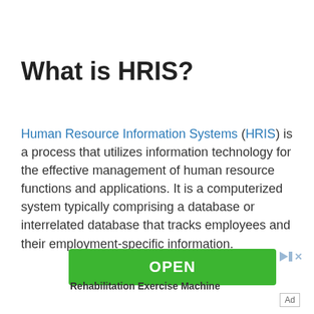What is HRIS?
Human Resource Information Systems (HRIS) is a process that utilizes information technology for the effective management of human resource functions and applications. It is a computerized system typically comprising a database or interrelated database that tracks employees and their employment-specific information.
[Figure (other): Green OPEN button advertisement for Rehabilitation Exercise Machine with ad icons]
Rehabilitation Exercise Machine
Ad